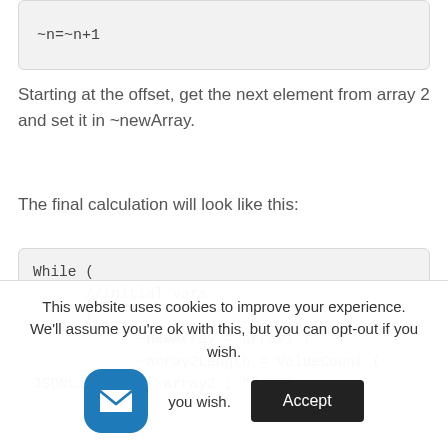~n=~n+1
Starting at the offset, get the next element from array 2 and set it in ~newArray.
The final calculation will look like this:
While (
    //initial vars
    [
        ~newArray = array1 ;
        ~array2Length = ValueCount (
JSONListKeys ( array2 ; "" ) ) ;
This website uses cookies to improve your experience. We'll assume you're ok with this, but you can opt-out if you wish.